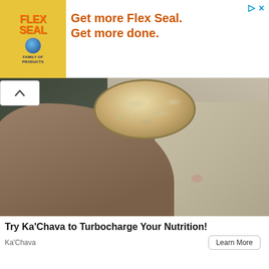[Figure (photo): Flex Seal advertisement banner with orange logo and text 'Get more Flex Seal. Get more done.']
[Figure (photo): Hand holding a glass jar of oats/granola with toppings, lying on beige bedding]
Try Ka'Chava to Turbocharge Your Nutrition!
Ka'Chava
[Figure (photo): Hand holding a white LED light bulb against a wooden surface background]